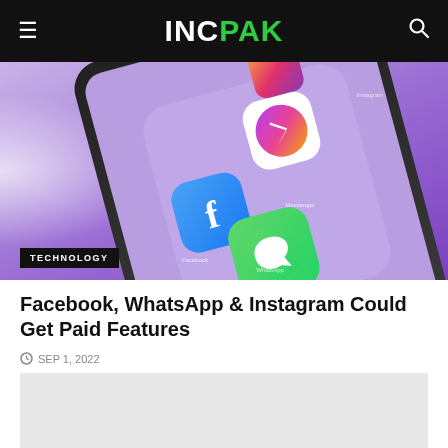INCPAK
[Figure (photo): A smartphone screen displaying Facebook, Messenger, WhatsApp, and Instagram app icons on a purple gradient background, with a TECHNOLOGY badge overlay.]
Facebook, WhatsApp & Instagram Could Get Paid Features
SEP 1, 2022
[Figure (other): Advertisement or placeholder block with light gray background.]